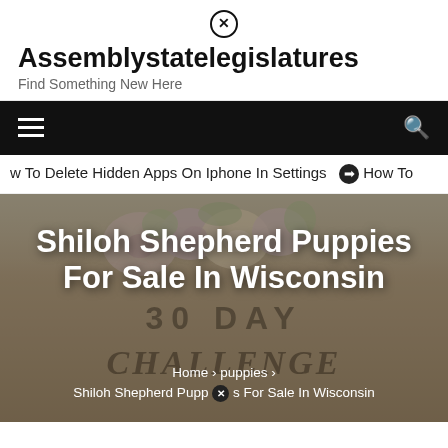[Figure (screenshot): Close/dismiss icon circle X at top center of page header]
Assemblystatelegislatures
Find Something New Here
[Figure (screenshot): Black navigation bar with hamburger menu icon on left and search icon on right]
w To Delete Hidden Apps On Iphone In Settings   ➡ How To
[Figure (photo): Hero image with floral background (roses and greenery), overlaid with large bold white text reading 'Shiloh Shepherd Puppies For Sale In Wisconsin', a faint '30 DAY CHALLENGE' watermark, and breadcrumb navigation at the bottom reading 'Home > puppies > Shiloh Shepherd Puppies For Sale In Wisconsin' with a close icon]
Shiloh Shepherd Puppies For Sale In Wisconsin
Home > puppies > Shiloh Shepherd Puppies For Sale In Wisconsin